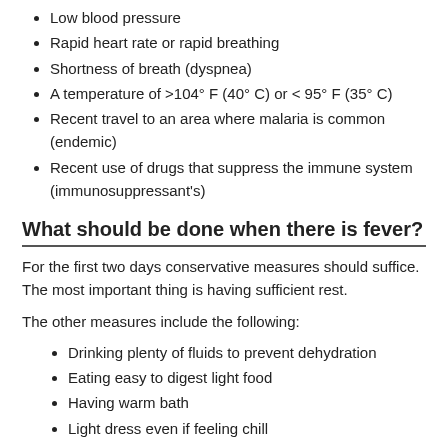Low blood pressure
Rapid heart rate or rapid breathing
Shortness of breath (dyspnea)
A temperature of >104° F (40° C) or < 95° F (35° C)
Recent travel to an area where malaria is common (endemic)
Recent use of drugs that suppress the immune system (immunosuppressant's)
What should be done when there is fever?
For the first two days conservative measures should suffice. The most important thing is having sufficient rest.
The other measures include the following:
Drinking plenty of fluids to prevent dehydration
Eating easy to digest light food
Having warm bath
Light dress even if feeling chill
Having over the counter medicines like